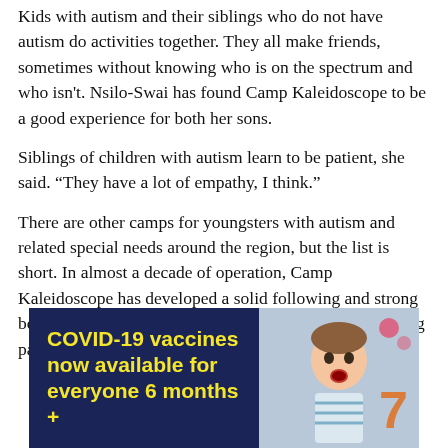Kids with autism and their siblings who do not have autism do activities together. They all make friends, sometimes without knowing who is on the spectrum and who isn't. Nsilo-Swai has found Camp Kaleidoscope to be a good experience for both her sons.
Siblings of children with autism learn to be patient, she said. “They have a lot of empathy, I think.”
There are other camps for youngsters with autism and related special needs around the region, but the list is short. In almost a decade of operation, Camp Kaleidoscope has developed a solid following and strong bond with families, mostly through word of mouth among parents and recommendations from
[Figure (infographic): Advertisement banner: dark navy blue left panel with yellow bold text reading 'COVID-19 vaccines now available for everyone 6 months +', right panel showing a photo of a young boy with mouth open in surprise, with a number 7 visible in background.]